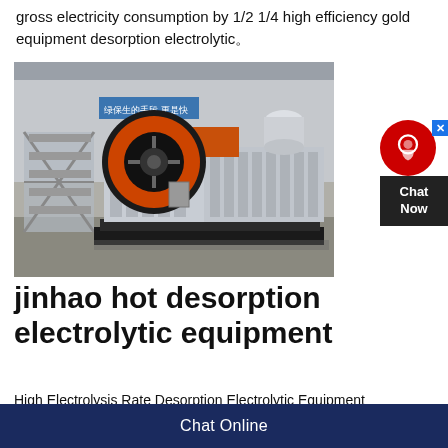gross electricity consumption by 1/2 1/4 high efficiency gold equipment desorption electrolytic
[Figure (photo): Industrial jaw crusher machine with orange flywheel and black/white body in a factory setting. Chinese text banner visible in background.]
[Figure (other): Chat support badge with red circle headset icon and dark 'Chat Now' label]
jinhao hot desorption electrolytic equipment
High Electrolysis Rate Desorption Electrolytic Equipment Desorption electrolysis system is
Chat Online